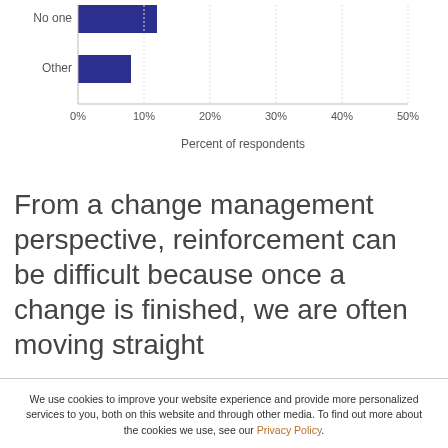[Figure (bar-chart): ]
From a change management perspective, reinforcement can be difficult because once a change is finished, we are often moving straight
We use cookies to improve your website experience and provide more personalized services to you, both on this website and through other media. To find out more about the cookies we use, see our Privacy Policy.